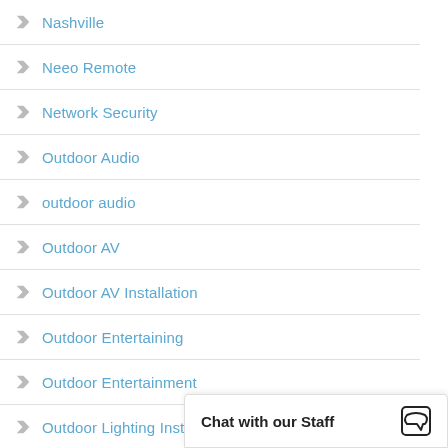Nashville
Neeo Remote
Network Security
Outdoor Audio
outdoor audio
Outdoor AV
Outdoor AV Installation
Outdoor Entertaining
Outdoor Entertainment
Outdoor Lighting Installer
Outdoor Lighting Solutions
Outdoor Shades
Outdoor Sound System
Outdoor Speakers
Outdoor TV
Chat with our Staff